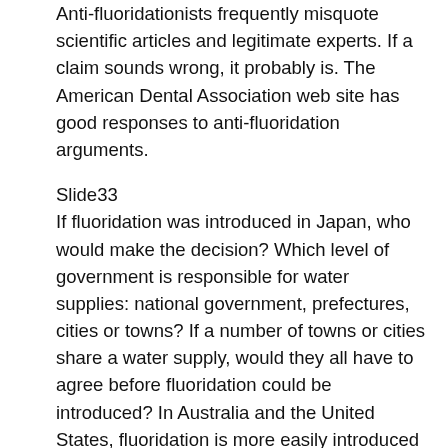Anti-fluoridationists frequently misquote scientific articles and legitimate experts. If a claim sounds wrong, it probably is. The American Dental Association web site has good responses to anti-fluoridation arguments.
Slide33
If fluoridation was introduced in Japan, who would make the decision? Which level of government is responsible for water supplies: national government, prefectures, cities or towns? If a number of towns or cities share a water supply, would they all have to agree before fluoridation could be introduced? In Australia and the United States, fluoridation is more easily introduced at a state level than at a town or city level. Most small towns and cities do not have high level public health expertise, and are more likely to be influenced by anti-fluoridation arguments.
Many local councillors will ask why the State Government doesn't make fluoridation compulsory if it is so safe and effective. Why are local governments forced to make the decision? If high dental caries rates are a state-wide problem, shouldn't it be addressed by the State Government?